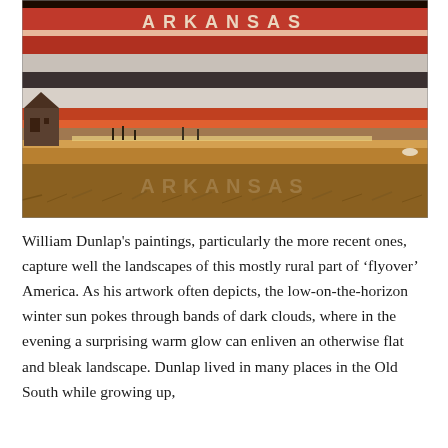[Figure (illustration): A painting by William Dunlap depicting an Arkansas landscape. The top of the painting shows the word 'ARKANSAS' in large spaced capital letters against a dramatic sky with bands of red, orange, black, and grey. A barn is visible on the left side. Below the sky is a flat rural landscape with fields. The foreground shows golden grasses with the word 'ARKANSAS' again rendered in a textured, muted style blending into the landscape.]
William Dunlap's paintings, particularly the more recent ones, capture well the landscapes of this mostly rural part of 'flyover' America. As his artwork often depicts, the low-on-the-horizon winter sun pokes through bands of dark clouds, where in the evening a surprising warm glow can enliven an otherwise flat and bleak landscape. Dunlap lived in many places in the Old South while growing up,